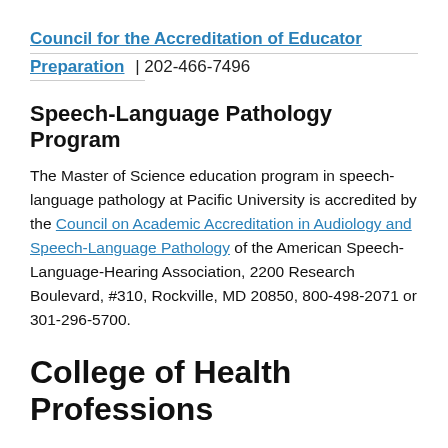Council for the Accreditation of Educator Preparation | 202-466-7496
Speech-Language Pathology Program
The Master of Science education program in speech-language pathology at Pacific University is accredited by the Council on Academic Accreditation in Audiology and Speech-Language Pathology of the American Speech-Language-Hearing Association, 2200 Research Boulevard, #310, Rockville, MD 20850, 800-498-2071 or 301-296-5700.
College of Health Professions